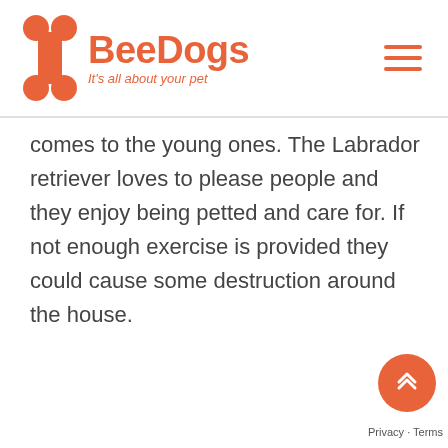BeeDogs - It's all about your pet
comes to the young ones. The Labrador retriever loves to please people and they enjoy being petted and care for. If not enough exercise is provided they could cause some destruction around the house.
Privacy · Terms